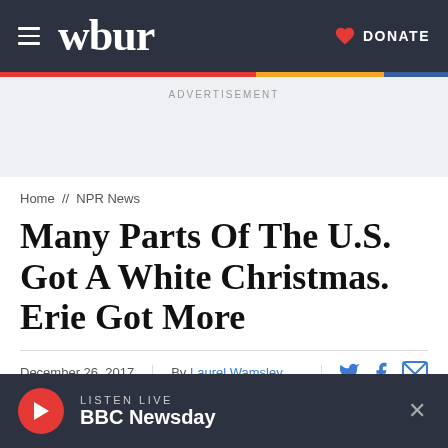wbur   DONATE
ADVERTISEMENT
Home // NPR News
Many Parts Of The U.S. Got A White Christmas. Erie Got More
December 26, 2017   By Laurel Wamsley
LISTEN LIVE BBC Newsday